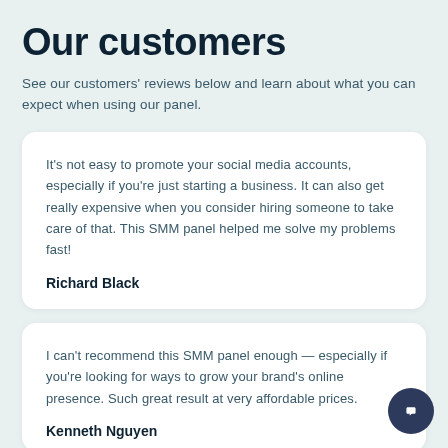Our customers
See our customers' reviews below and learn about what you can expect when using our panel.
It's not easy to promote your social media accounts, especially if you're just starting a business. It can also get really expensive when you consider hiring someone to take care of that. This SMM panel helped me solve my problems fast!
Richard Black
I can't recommend this SMM panel enough — especially if you're looking for ways to grow your brand's online presence. Such great result at very affordable prices.
Kenneth Nguyen